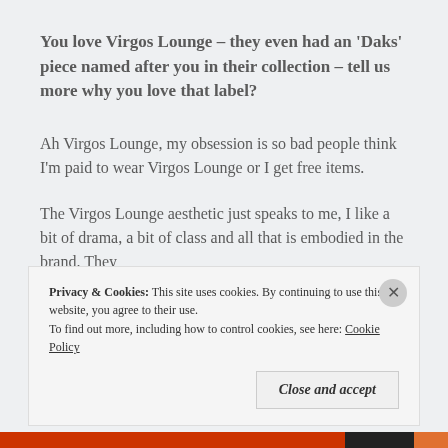You love Virgos Lounge – they even had an 'Daks' piece named after you in their collection – tell us more why you love that label?
Ah Virgos Lounge, my obsession is so bad people think I'm paid to wear Virgos Lounge or I get free items.
The Virgos Lounge aesthetic just speaks to me, I like a bit of drama, a bit of class and all that is embodied in the brand. They
Privacy & Cookies: This site uses cookies. By continuing to use this website, you agree to their use.
To find out more, including how to control cookies, see here: Cookie Policy